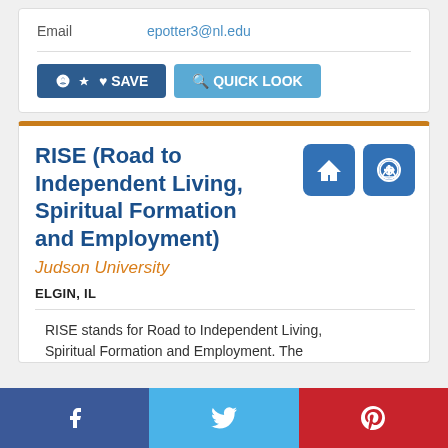Email   epotter3@nl.edu
SAVE   QUICK LOOK
RISE (Road to Independent Living, Spiritual Formation and Employment)
Judson University
ELGIN, IL
RISE stands for Road to Independent Living, Spiritual Formation and Employment. The